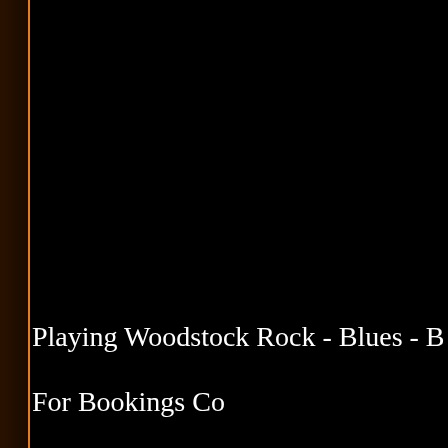Playing  Woodstock Rock -  Blues - B
For Bookings Co